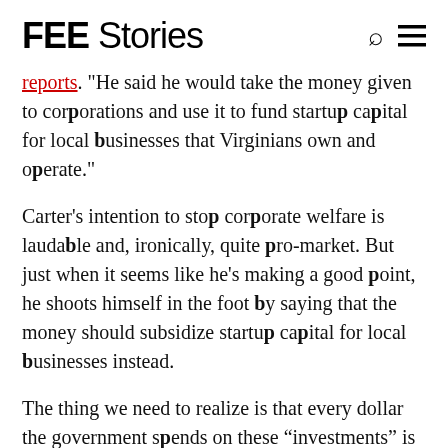FEE Stories
reports. "He said he would take the money given to corporations and use it to fund startup capital for local businesses that Virginians own and operate."
Carter's intention to stop corporate welfare is laudable and, ironically, quite pro-market. But just when it seems like he's making a good point, he shoots himself in the foot by saying that the money should subsidize startup capital for local businesses instead.
The thing we need to realize is that every dollar the government spends on these "investments" is a